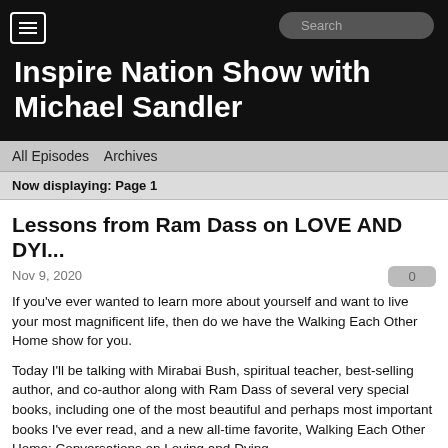Inspire Nation Show with Michael Sandler
All Episodes   Archives
Now displaying: Page 1
Lessons from Ram Dass on LOVE AND DYI...
Nov 9, 2020
If you've ever wanted to learn more about yourself and want to live your most magnificent life, then do we have the Walking Each Other Home show for you.
Today I'll be talking with Mirabai Bush, spiritual teacher, best-selling author, and co-author along with Ram Dass of several very special books, including one of the most beautiful and perhaps most important books I've ever read, and a new all-time favorite, Walking Each Other Home: Conversations on Loving and Dying.